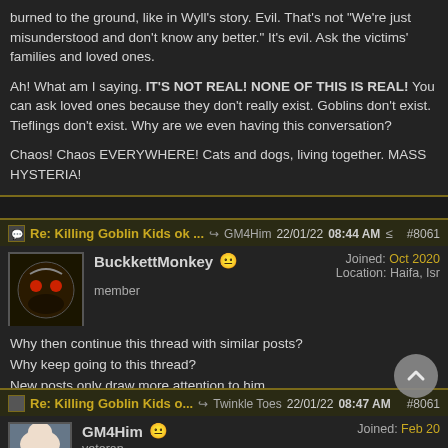burned to the ground, like in Wyll's story. Evil. That's not "We're just misunderstood and don't know any better." It's evil. Ask the victims' families and loved ones.

Ah! What am I saying. IT'S NOT REAL! NONE OF THIS IS REAL! You can ask loved ones because they don't really exist. Goblins don't exist. Tieflings don't exist. Why are we even having this conversation?

Chaos! Chaos EVERYWHERE! Cats and dogs, living together. MASS HYSTERIA!
Re: Killing Goblin Kids ok ... → GM4Him 22/01/22 08:44 AM #8061
BuckkettMonkey
member
Joined: Oct 2020
Location: Haifa, Isr
Why then continue this thread with similar posts?
Why keep going to this thread?
New posts only draw more attention to him.
Re: Killing Goblin Kids o... → Twinkle Toes 22/01/22 08:47 AM #8061
GM4Him
veteran
Joined: Feb 20